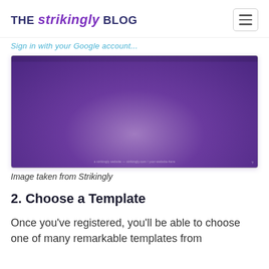THE strikingly BLOG
Sign in with your Google account...
[Figure (screenshot): Screenshot of Strikingly website builder interface with a purple gradient background]
Image taken from Strikingly
2. Choose a Template
Once you've registered, you'll be able to choose one of many remarkable templates from